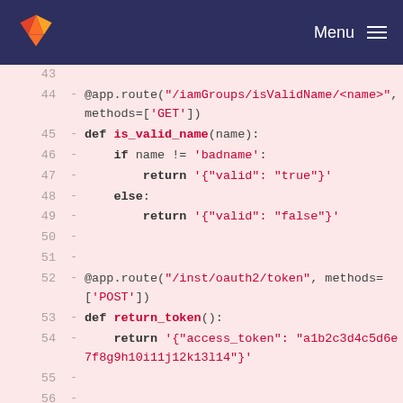GitLab Menu
Code diff view showing lines 43-59 of a Python Flask application with routes and function definitions